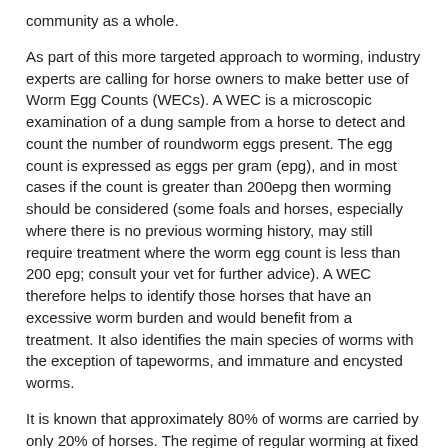community as a whole.
As part of this more targeted approach to worming, industry experts are calling for horse owners to make better use of Worm Egg Counts (WECs). A WEC is a microscopic examination of a dung sample from a horse to detect and count the number of roundworm eggs present. The egg count is expressed as eggs per gram (epg), and in most cases if the count is greater than 200epg then worming should be considered (some foals and horses, especially where there is no previous worming history, may still require treatment where the worm egg count is less than 200 epg; consult your vet for further advice). A WEC therefore helps to identify those horses that have an excessive worm burden and would benefit from a treatment. It also identifies the main species of worms with the exception of tapeworms, and immature and encysted worms.
It is known that approximately 80% of worms are carried by only 20% of horses. The regime of regular worming at fixed intervals, a system that has traditionally been popular on large yards, has provided an effective means of limiting worm burdens, but it is possible that many horses are being wormed unnecessarily, which encourages the development of resistance. With the consensus of expert opinion on the future of worming firmly behind the use of targeted programmes incorporating WECs, there has never been a better time to make worm egg counts a regular part of your worming programme.
Keeping track of treatments and WEC results may seem like an